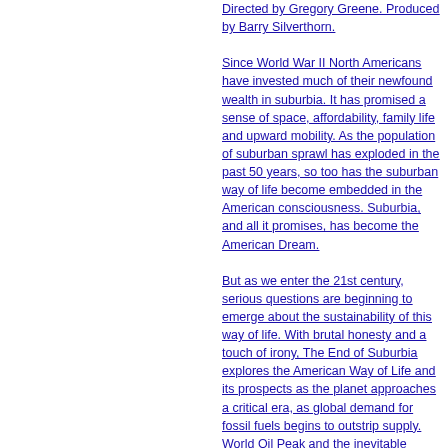Directed by Gregory Greene. Produced by Barry Silverthorn.
Since World War II North Americans have invested much of their newfound wealth in suburbia. It has promised a sense of space, affordability, family life and upward mobility. As the population of suburban sprawl has exploded in the past 50 years, so too has the suburban way of life become embedded in the American consciousness. Suburbia, and all it promises, has become the American Dream.
But as we enter the 21st century, serious questions are beginning to emerge about the sustainability of this way of life. With brutal honesty and a touch of irony, The End of Suburbia explores the American Way of Life and its prospects as the planet approaches a critical era, as global demand for fossil fuels begins to outstrip supply. World Oil Peak and the inevitable decline of fossil fuels are upon us now, some scientists and policy makers argue in this